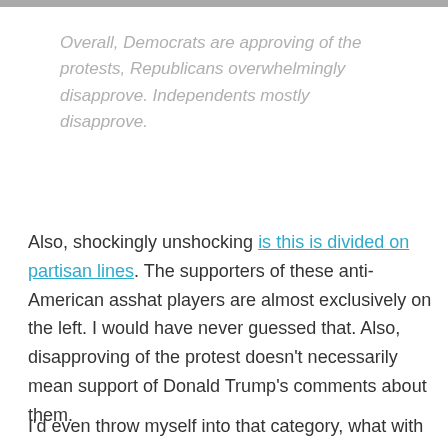Well, guess what. You are the CEO.
Overall, Democrats are approving of the protests, Republicans overwhelmingly disapprove. Independents mostly disapprove.
Also, shockingly unshocking is this is divided on partisan lines. The supporters of these anti-American asshat players are almost exclusively on the left. I would have never guessed that. Also, disapproving of the protest doesn't necessarily mean support of Donald Trump's comments about them.
I'd even throw myself into that category, what with